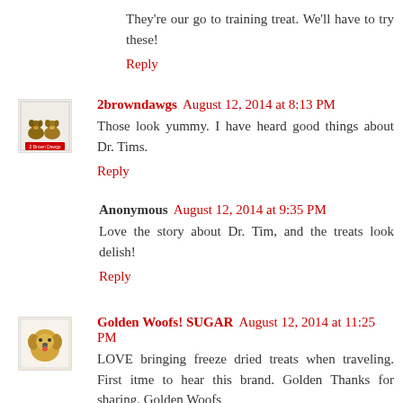They're our go to training treat. We'll have to try these!
Reply
2browndawgs  August 12, 2014 at 8:13 PM
Those look yummy. I have heard good things about Dr. Tims.
Reply
Anonymous  August 12, 2014 at 9:35 PM
Love the story about Dr. Tim, and the treats look delish!
Reply
Golden Woofs! SUGAR  August 12, 2014 at 11:25 PM
LOVE bringing freeze dried treats when traveling. First itme to hear this brand. Golden Thanks for sharing. Golden Woofs